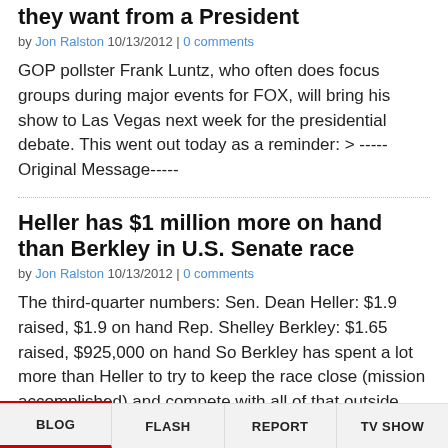they want from a President
by Jon Ralston 10/13/2012 | 0 comments
GOP pollster Frank Luntz, who often does focus groups during major events for FOX, will bring his show to Las Vegas next week for the presidential debate. This went out today as a reminder: > -----Original Message-----
Heller has $1 million more on hand than Berkley in U.S. Senate race
by Jon Ralston 10/13/2012 | 0 comments
The third-quarter numbers: Sen. Dean Heller: $1.9 raised, $1.9 on hand Rep. Shelley Berkley: $1.65 raised, $925,000 on hand So Berkley has spent a lot more than Heller to try to keep the race close (mission accomplished) and compete with all of that outside
BLOG | FLASH | REPORT | TV SHOW